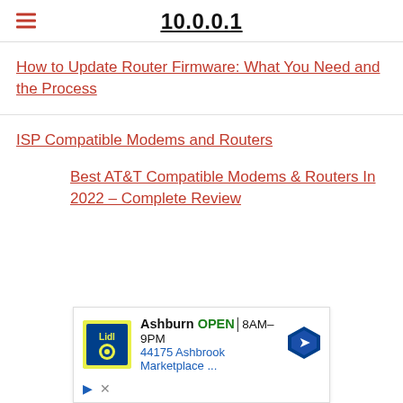10.0.0.1
How to Update Router Firmware: What You Need and the Process
ISP Compatible Modems and Routers
Best AT&T Compatible Modems & Routers In 2022 – Complete Review
[Figure (screenshot): Advertisement showing Lidl store in Ashburn, OPEN 8AM-9PM, 44175 Ashbrook Marketplace ...]